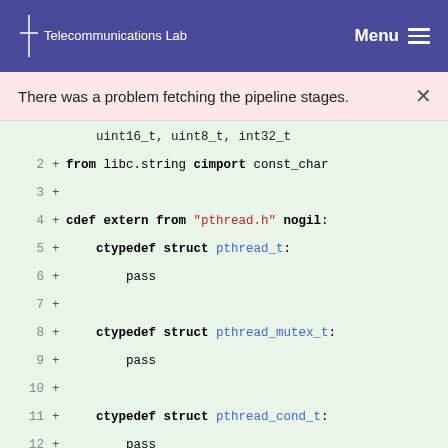Telecommunications Lab   Menu
There was a problem fetching the pipeline stages.
[Figure (screenshot): Code diff viewer showing lines 2-15 of a Cython/pxd file with additions (+) for pthread and packet table extern declarations]